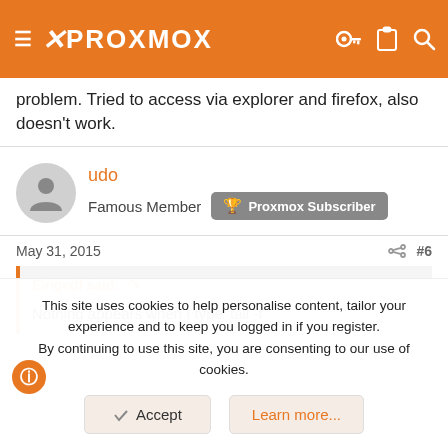PROXMOX
problem. Tried to access via explorer and firefox, also doesn't work.
udo
Famous Member  Proxmox Subscriber
May 31, 2015  #6
Eingedi said:
Nothing appears when I type 'tail -f
This site uses cookies to help personalise content, tailor your experience and to keep you logged in if you register.
By continuing to use this site, you are consenting to our use of cookies.